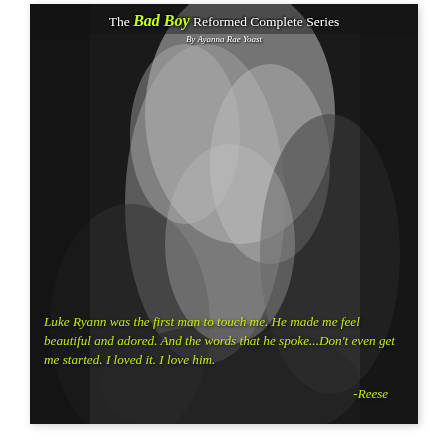[Figure (illustration): Book cover for 'The Bad Boy Reformed Complete Series' by Ayanna Rae Yoast. Black and white photograph of two people in an intimate embrace. Yellow-green italic text overlaid on the lower half with a quote attributed to Reese.]
The Bad Boy Reformed Complete Series by Ayanna Rae Yoast
Luke Ryann was the first man to touch me. He made me feel beautiful and adored. And the words that he spoke...Don't even get me started. I loved it. I love him. -Reese